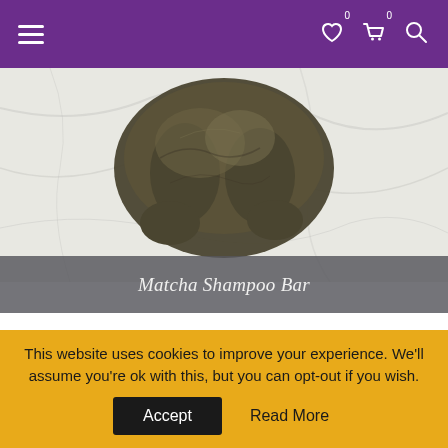Navigation bar with hamburger menu and icons
[Figure (photo): Dark olive-brown matcha shampoo bar resting on a white marble surface]
Matcha Shampoo Bar
Apart from the plastic bottle, some shampoo brands have palm oil in their ingredients. Many products use palm oil, and it's wiping out the rainforest in Asia
This website uses cookies to improve your experience. We'll assume you're ok with this, but you can opt-out if you wish. Accept  Read More